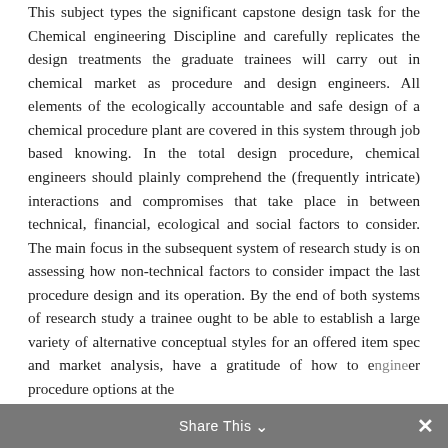This subject types the significant capstone design task for the Chemical engineering Discipline and carefully replicates the design treatments the graduate trainees will carry out in chemical market as procedure and design engineers. All elements of the ecologically accountable and safe design of a chemical procedure plant are covered in this system through job based knowing. In the total design procedure, chemical engineers should plainly comprehend the (frequently intricate) interactions and compromises that take place in between technical, financial, ecological and social factors to consider. The main focus in the subsequent system of research study is on assessing how non-technical factors to consider impact the last procedure design and its operation. By the end of both systems of research study a trainee ought to be able to establish a large variety of alternative conceptual styles for an offered item spec and market analysis, have a gratitude of how to engineer procedure options at the
Share This ∨ ✕